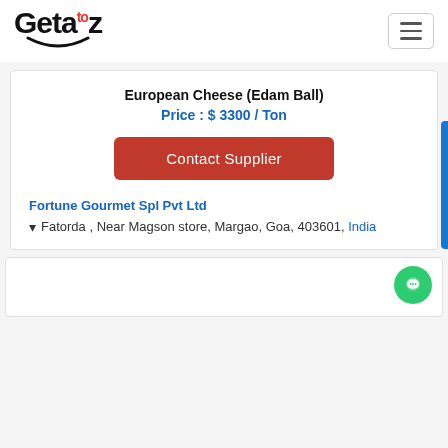Geta to z
European Cheese (Edam Ball)
Price : $ 3300 / Ton
Contact Supplier
Fortune Gourmet Spl Pvt Ltd
Fatorda , Near Magson store, Margao, Goa, 403601, India